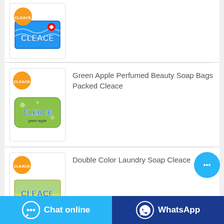[Figure (photo): Cleace blue antibacterial soap box product image with logo badge]
[Figure (photo): Green Apple Perfumed Beauty Soap Bags Packed Cleace product image with logo badge]
Green Apple Perfumed Beauty Soap Bags Packed Cleace
[Figure (photo): Double Color Laundry Soap Cleace product image with logo badge]
Double Color Laundry Soap Cleace
[Figure (screenshot): Chat online button (light blue) and WhatsApp button (dark blue) at bottom of page]